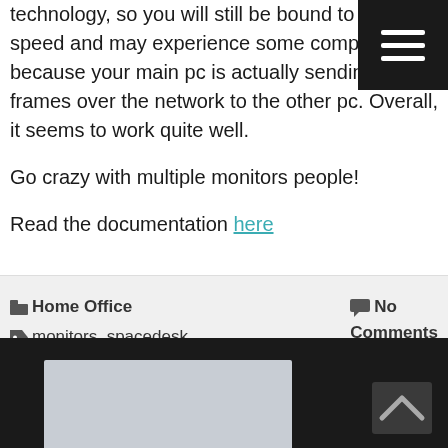technology, so you will still be bound to network speed and may experience some compression because your main pc is actually sending frames over the network to the other pc. Overall, it seems to work quite well.
Go crazy with multiple monitors people!
Read the documentation here
Home Office | monitors, spacedesk | No Comments
[Figure (screenshot): Dark background area with a light gray card preview at bottom left and a back-to-top chevron icon at bottom right]